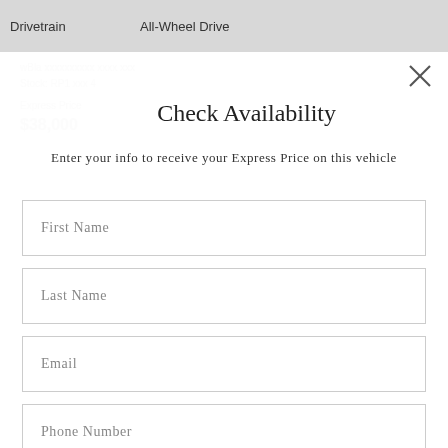| Drivetrain | All-Wheel Drive |
| --- | --- |
Check Availability
Enter your info to receive your Express Price on this vehicle
First Name
Last Name
Email
Phone Number